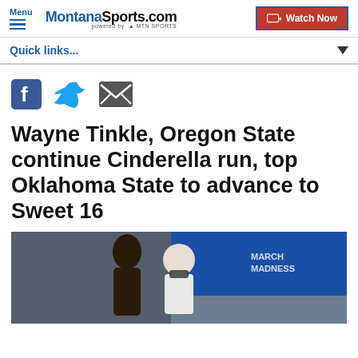Menu MontanaSports.com powered by MTN SPORTS | Watch Now
Quick links...
[Figure (other): Social sharing icons: Facebook, Twitter, Email]
Wayne Tinkle, Oregon State continue Cinderella run, top Oklahoma State to advance to Sweet 16
[Figure (photo): Photo of Wayne Tinkle and a player at a basketball game, with blue signage in the background]